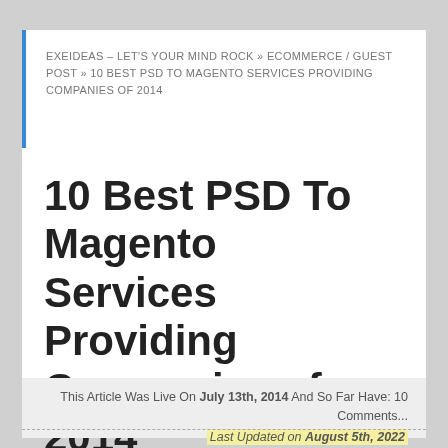EXEIDEAS – LET'S YOUR MIND ROCK » ECOMMERCE / GUEST POST » 10 BEST PSD TO MAGENTO SERVICES PROVIDING COMPANIES OF 2014
10 Best PSD To Magento Services Providing Companies of 2014
This Article Was Live On July 13th, 2014 And So Far Have: 10 Comments... Last Updated on August 5th, 2022